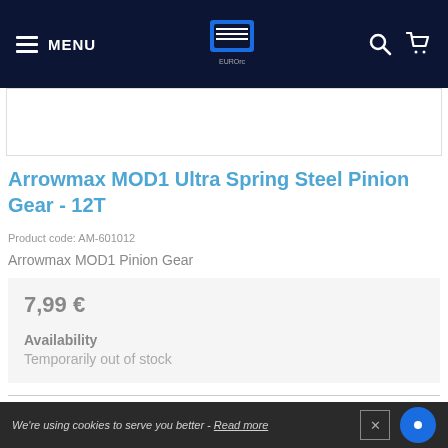MENU | EuroRC Logo | Search | Cart
[Figure (screenshot): Product image placeholder (top)]
Arrowmax MOD1 Ultra Spring Steel Pinion Gear - 12T
Product code: AM-601012
Arrowmax MOD1 Pinion Gear
7,99 €
Availability
Temporarily out of stock
[Figure (screenshot): Product image placeholder (bottom)]
We're using cookies to serve you better - Read more